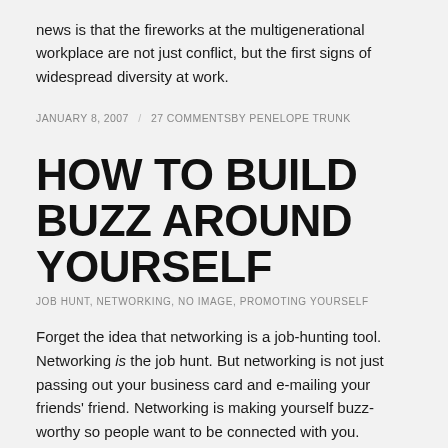news is that the fireworks at the multigenerational workplace are not just conflict, but the first signs of widespread diversity at work.
JANUARY 8, 2007 / 27 COMMENTSBY PENELOPE TRUNK
HOW TO BUILD BUZZ AROUND YOURSELF
JOB HUNT, NETWORKING, NO IMAGE, PROMOTING YOURSELF
Forget the idea that networking is a job-hunting tool. Networking is the job hunt. But networking is not just passing out your business card and e-mailing your friends' friend. Networking is making yourself buzz-worthy so people want to be connected with you.